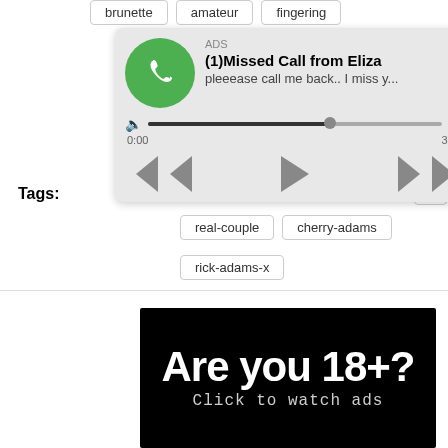brunette
amateur
fingering
[Figure (screenshot): Mobile notification popup showing a missed call ad: ADS header, bold title '(1)Missed Call from Eliza', subtitle 'pleeease call me back.. I miss y...', audio progress bar at 62%, timestamps 0:00 and 3:23, rewind/play/fast-forward controls]
Tags:
wet pussy
woman cumming
th
real-couple
cherry-adams
rick-adams-x
[Figure (infographic): Black banner ad with white bold text 'Are you 18+?' and gray monospace text 'Click to watch ads']